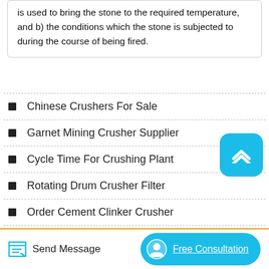is used to bring the stone to the required temperature, and b) the conditions which the stone is subjected to during the course of being fired.
Chinese Crushers For Sale
Garnet Mining Crusher Supplier
Cycle Time For Crushing Plant
Rotating Drum Crusher Filter
Order Cement Clinker Crusher
Send Message
Free Consultation